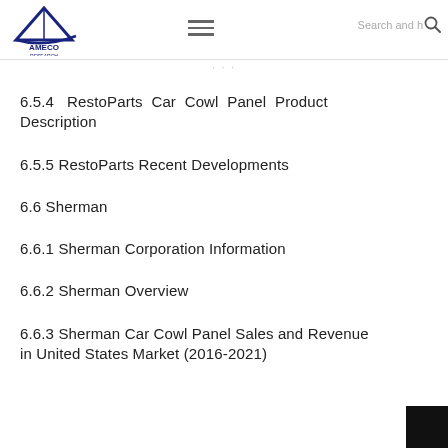AMECO RESEARCH — navigation header with logo, hamburger menu, and search
6.5.4  RestoParts Car Cowl Panel Product Description
6.5.5 RestoParts Recent Developments
6.6 Sherman
6.6.1 Sherman Corporation Information
6.6.2 Sherman Overview
6.6.3 Sherman Car Cowl Panel Sales and Revenue in United States Market (2016-2021)